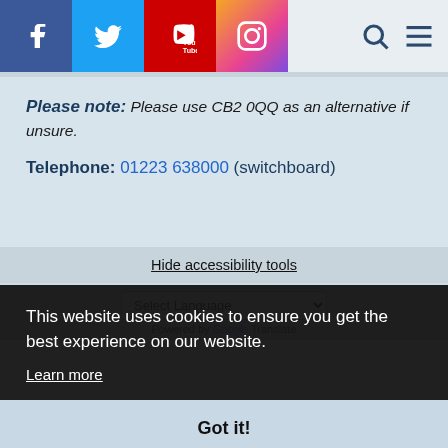Social media icons: Facebook, Twitter, YouTube, Instagram; Search and Menu icons
Please note: Please use CB2 0QQ as an alternative if unsure.
Telephone: 01223 638000 (switchboard)
Hide accessibility tools
Select Language
Powered by Google Translate
This website uses cookies to ensure you get the best experience on our website.
Learn more
Got it!